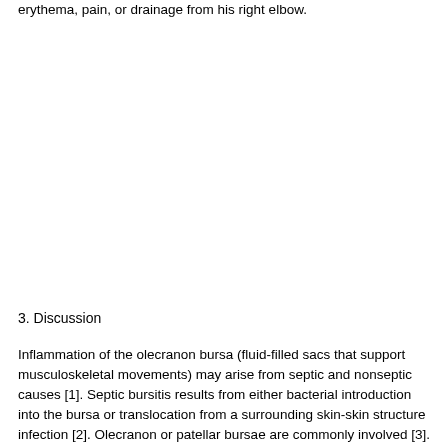erythema, pain, or drainage from his right elbow.
3. Discussion
Inflammation of the olecranon bursa (fluid-filled sacs that support musculoskeletal movements) may arise from septic and nonseptic causes [1]. Septic bursitis results from either bacterial introduction into the bursa or translocation from a surrounding skin-skin structure infection [2]. Olecranon or patellar bursae are commonly involved [3]. Gram-positive organisms are predominantly implicated, including Staphylococcus aureus and beta-hemolytic Streptococcus species [4]. Empiric treatment typically consists of a first-generation cephalosporin, vancomycin, or combination